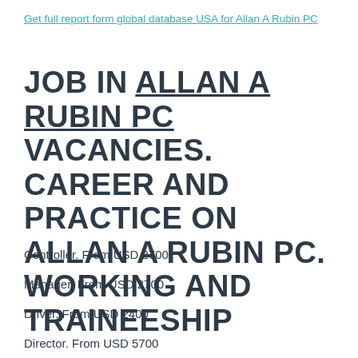Get full report form global database USA for Allan A Rubin PC
JOB IN ALLAN A RUBIN PC VACANCIES. CAREER AND PRACTICE ON ALLAN A RUBIN PC. WORKING AND TRAINEESHIP
Controller. From USD 2700
Manager. From USD 2700
Driver. From USD 2400
Director. From USD 5700
Fabricator. From USD 2300